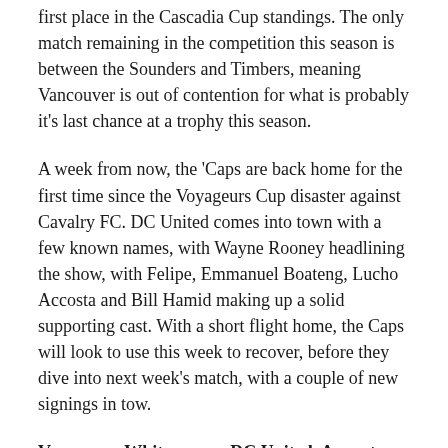first place in the Cascadia Cup standings. The only match remaining in the competition this season is between the Sounders and Timbers, meaning Vancouver is out of contention for what is probably it's last chance at a trophy this season.
A week from now, the 'Caps are back home for the first time since the Voyageurs Cup disaster against Cavalry FC. DC United comes into town with a few known names, with Wayne Rooney headlining the show, with Felipe, Emmanuel Boateng, Lucho Accosta and Bill Hamid making up a solid supporting cast. With a short flight home, the Caps will look to use this week to recover, before they dive into next week's match, with a couple of new signings in tow.
Vancouver Whitecaps vs DC United, August 17th, 2019, 19:00 PST (BC Place, Vancouver)